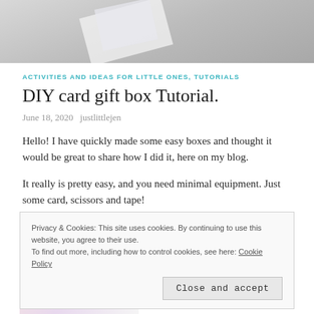[Figure (photo): Partial photo of a DIY card gift box, shown from above on a light background]
ACTIVITIES AND IDEAS FOR LITTLE ONES, TUTORIALS
DIY card gift box Tutorial.
June 18, 2020   justlittlejen
Hello! I have quickly made some easy boxes and thought it would be great to share how I did it, here on my blog.
It really is pretty easy, and you need minimal equipment. Just some card, scissors and tape!
Privacy & Cookies: This site uses cookies. By continuing to use this website, you agree to their use.
To find out more, including how to control cookies, see here: Cookie Policy
[Figure (photo): Partial photo at the bottom showing colorful card/craft materials]